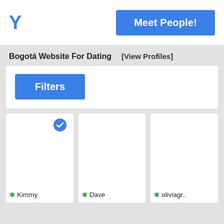Y
Meet People!
Bogotá Website For Dating
[View Profiles]
Filters
[Figure (screenshot): Profile card for Kimmy with blue checkmark icon in top right and green online dot next to name]
[Figure (screenshot): Profile card for Dave with green online dot next to name]
[Figure (screenshot): Profile card for oliviagr.. with green online dot next to name]